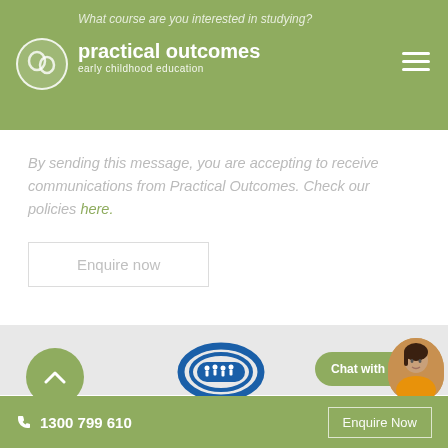practical outcomes — early childhood education
What course are you interested in studying?
By sending this message, you are accepting to receive communications from Practical Outcomes. Check our policies here.
Enquire now
[Figure (logo): Early Childhood Australia logo — circular blue design with white figures, text: A voice for young children]
Chat with us...
1300 799 610   Enquire Now